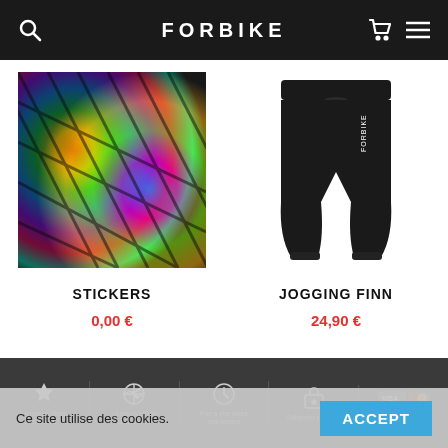FORBIKE
[Figure (photo): Product image of holographic colorful stickers with rainbow reflective patterns on tire-like surfaces]
STICKERS
0,00 €
[Figure (photo): Product image of black jogging pants (JOGGING FINN) on white background]
JOGGING FINN
24,90 €
Ce site utilise des cookies.